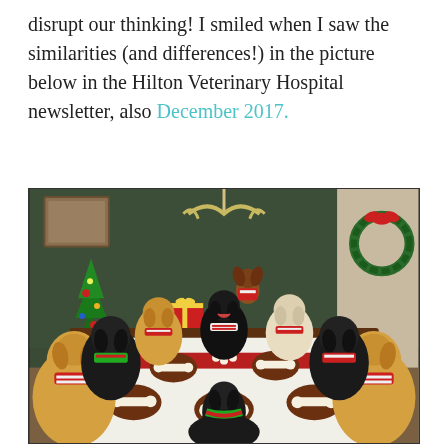disrupt our thinking! I smiled when I saw the similarities (and differences!) in the picture below in the Hilton Veterinary Hospital newsletter, also December 2017.
[Figure (photo): A humorous Christmas photo showing multiple dogs of various breeds seated around a dining table set with a white tablecloth and red runner. The dogs are dressed in festive holiday outfits (red and striped scarves/bibs). The table is set with dog bone treats on dark plates. In the background is a Christmas tree with colorful ornaments, wrapped gift boxes, a wreath on the wall, and a chandelier. The room has dark green walls. One small dog in a holiday outfit sits in the back center area.]